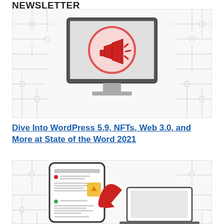NEWSLETTER
[Figure (illustration): Illustration of a computer monitor with a megaphone/announcement icon inside a red circle, set against a circuit board pattern background]
Dive Into WordPress 5.9, NFTs, Web 3.0, and More at State of the Word 2021
[Figure (illustration): Illustration of a mobile phone showing a Google search results page with a red curved arrow pointing to a laptop screen, set against a circuit board pattern background]